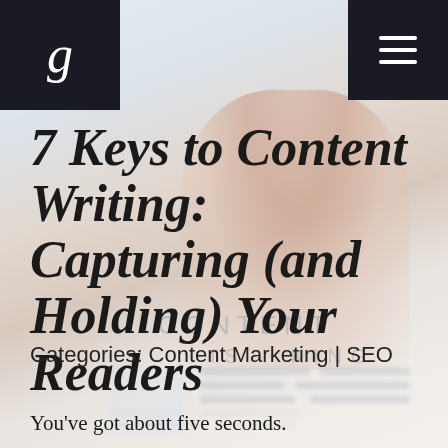[Figure (photo): Background photo showing fingers and a blurred document/content visual with 'CONTENT IS KING' text overlay, light blue-grey and skin-tone palette]
g (logo) | hamburger menu icon
7 Keys to Content Writing: Capturing (and Holding) Your Readers
Categories: Content Marketing | SEO
You've got about five seconds.